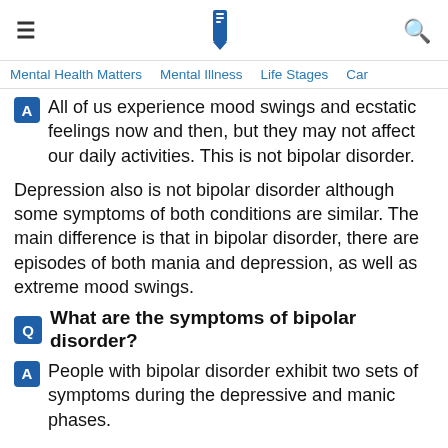≡  WHITE SWAN FOUNDATION  🔍
Mental Health Matters  Mental Illness  Life Stages  Car...
A  All of us experience mood swings and ecstatic feelings now and then, but they may not affect our daily activities. This is not bipolar disorder.
Depression also is not bipolar disorder although some symptoms of both conditions are similar. The main difference is that in bipolar disorder, there are episodes of both mania and depression, as well as extreme mood swings.
Q  What are the symptoms of bipolar disorder?
A  People with bipolar disorder exhibit two sets of symptoms during the depressive and manic phases.